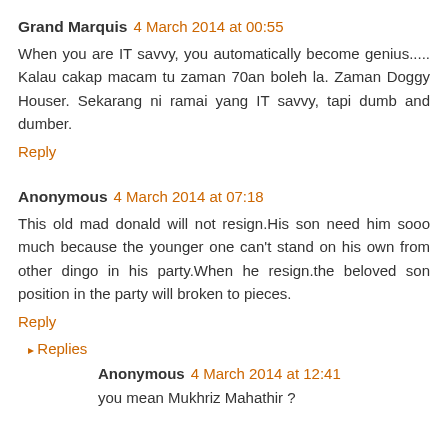Grand Marquis  4 March 2014 at 00:55
When you are IT savvy, you automatically become genius..... Kalau cakap macam tu zaman 70an boleh la. Zaman Doggy Houser. Sekarang ni ramai yang IT savvy, tapi dumb and dumber.
Reply
Anonymous  4 March 2014 at 07:18
This old mad donald will not resign.His son need him sooo much because the younger one can't stand on his own from other dingo in his party.When he resign.the beloved son position in the party will broken to pieces.
Reply
Replies
Anonymous  4 March 2014 at 12:41
you mean Mukhriz Mahathir ?